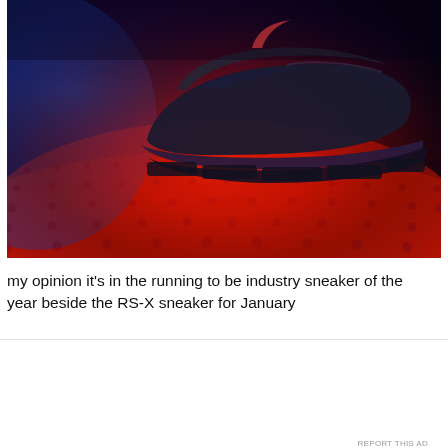[Figure (photo): Close-up photo of a dark sneaker/athletic shoe on a red and blue illuminated grid surface, dramatic neon lighting with red and blue tones]
my opinion it's in the running to be industry sneaker of the year beside the RS-X sneaker for January
Win...
Advertisements
[Figure (infographic): Pocket Casts advertisement: The go-to app for podcast lovers. Shows Pocket Casts app icon and logo.]